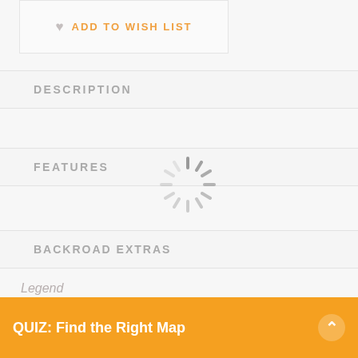ADD TO WISH LIST
DESCRIPTION
FEATURES
[Figure (other): Loading spinner / activity indicator graphic]
BACKROAD EXTRAS
Legend
UPDATES
QUIZ: Find the Right Map